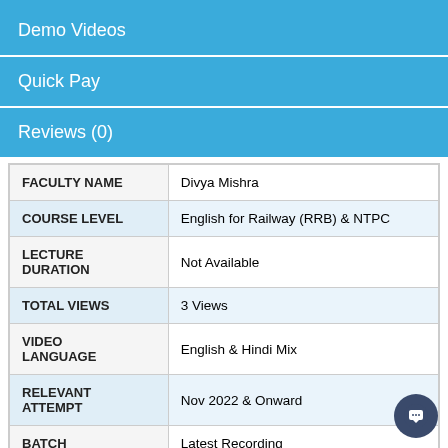Demo Videos
Quick Pay
Reviews (0)
|  |  |
| --- | --- |
| FACULTY NAME | Divya Mishra |
| COURSE LEVEL | English for Railway (RRB) & NTPC |
| LECTURE DURATION | Not Available |
| TOTAL VIEWS | 3 Views |
| VIDEO LANGUAGE | English & Hindi Mix |
| RELEVANT ATTEMPT | Nov 2022 & Onward |
| BATCH | Latest Recording |